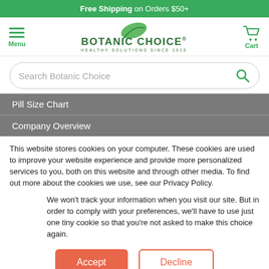Free Shipping on Orders $50+
[Figure (logo): Botanic Choice logo with green leaf and text 'BOTANIC CHOICE® HEALTHY SOLUTIONS SINCE 1910', with Menu icon on left and Cart icon on right]
Search Botanic Choice
Pill Size Chart
Company Overview
This website stores cookies on your computer. These cookies are used to improve your website experience and provide more personalized services to you, both on this website and through other media. To find out more about the cookies we use, see our Privacy Policy.
We won't track your information when you visit our site. But in order to comply with your preferences, we'll have to use just one tiny cookie so that you're not asked to make this choice again.
Accept | Decline